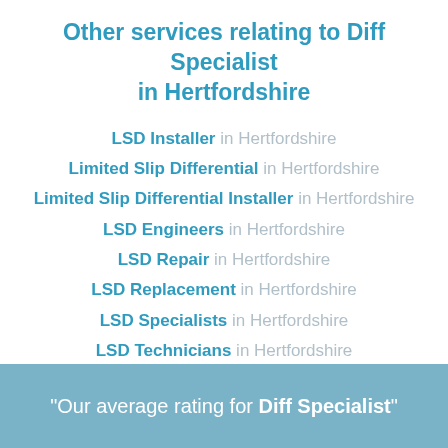Other services relating to Diff Specialist in Hertfordshire
LSD Installer in Hertfordshire
Limited Slip Differential in Hertfordshire
Limited Slip Differential Installer in Hertfordshire
LSD Engineers in Hertfordshire
LSD Repair in Hertfordshire
LSD Replacement in Hertfordshire
LSD Specialists in Hertfordshire
LSD Technicians in Hertfordshire
"Our average rating for Diff Specialist"